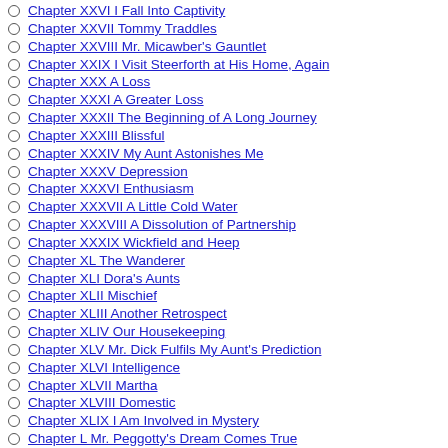Chapter XXVI I Fall Into Captivity
Chapter XXVII Tommy Traddles
Chapter XXVIII Mr. Micawber's Gauntlet
Chapter XXIX I Visit Steerforth at His Home, Again
Chapter XXX A Loss
Chapter XXXI A Greater Loss
Chapter XXXII The Beginning of A Long Journey
Chapter XXXIII Blissful
Chapter XXXIV My Aunt Astonishes Me
Chapter XXXV Depression
Chapter XXXVI Enthusiasm
Chapter XXXVII A Little Cold Water
Chapter XXXVIII A Dissolution of Partnership
Chapter XXXIX Wickfield and Heep
Chapter XL The Wanderer
Chapter XLI Dora's Aunts
Chapter XLII Mischief
Chapter XLIII Another Retrospect
Chapter XLIV Our Housekeeping
Chapter XLV Mr. Dick Fulfils My Aunt's Prediction
Chapter XLVI Intelligence
Chapter XLVII Martha
Chapter XLVIII Domestic
Chapter XLIX I Am Involved in Mystery
Chapter L Mr. Peggotty's Dream Comes True
Chapter LI The Beginning of A Longer Journey
Chapter LII I Assist At An Explosion
Chapter LIII Another Retrospect